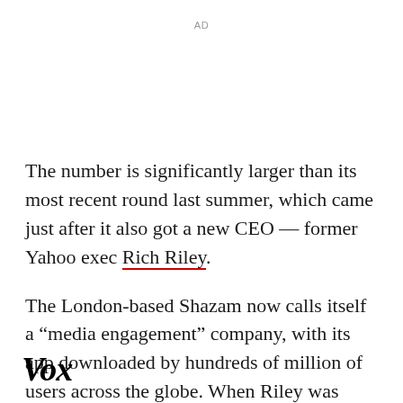AD
The number is significantly larger than its most recent round last summer, which came just after it also got a new CEO — former Yahoo exec Rich Riley.
The London-based Shazam now calls itself a “media engagement” company, with its app downloaded by hundreds of million of users across the globe. When Riley was hired, the company said it had 60 million
Vox